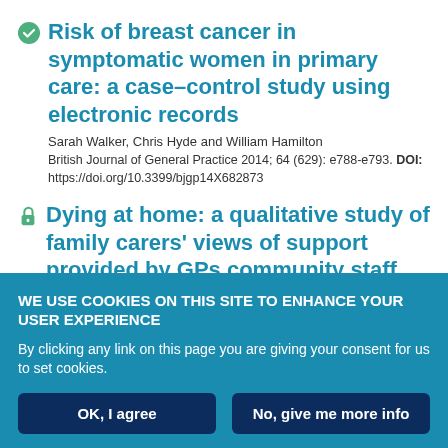Risk of breast cancer in symptomatic women in primary care: a case–control study using electronic records
Sarah Walker, Chris Hyde and William Hamilton
British Journal of General Practice 2014; 64 (629): e788-e793. DOI: https://doi.org/10.3399/bjgp14X682873
Dying at home: a qualitative study of family carers' views of support provided by GPs community staff
WE USE COOKIES ON THIS SITE TO ENHANCE YOUR USER EXPERIENCE
By clicking any link on this page you are giving your consent for us to set cookies.